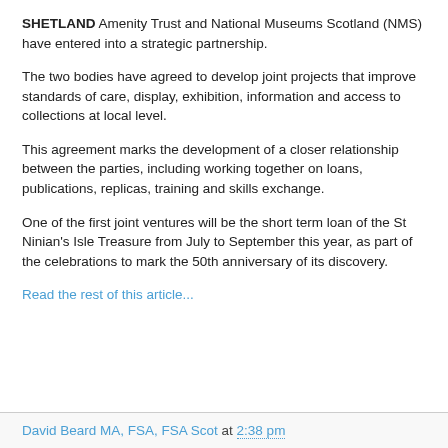SHETLAND Amenity Trust and National Museums Scotland (NMS) have entered into a strategic partnership.
The two bodies have agreed to develop joint projects that improve standards of care, display, exhibition, information and access to collections at local level.
This agreement marks the development of a closer relationship between the parties, including working together on loans, publications, replicas, training and skills exchange.
One of the first joint ventures will be the short term loan of the St Ninian's Isle Treasure from July to September this year, as part of the celebrations to mark the 50th anniversary of its discovery.
Read the rest of this article...
David Beard MA, FSA, FSA Scot at 2:38 pm